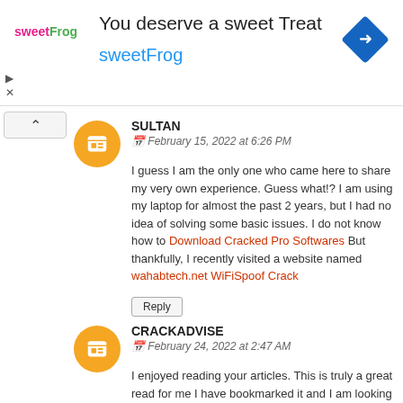[Figure (other): Advertisement banner for sweetFrog frozen yogurt. Contains sweetFrog logo, text 'You deserve a sweet Treat', brand name 'sweetFrog' in blue, and a blue diamond navigation icon.]
SULTAN
February 15, 2022 at 6:26 PM
I guess I am the only one who came here to share my very own experience. Guess what!? I am using my laptop for almost the past 2 years, but I had no idea of solving some basic issues. I do not know how to Download Cracked Pro Softwares But thankfully, I recently visited a website named wahabtech.net WiFiSpoof Crack
Reply
CRACKADVISE
February 24, 2022 at 2:47 AM
I enjoyed reading your articles. This is truly a great read for me I have bookmarked it and I am looking forward to reading new articles. Keep up the good work!